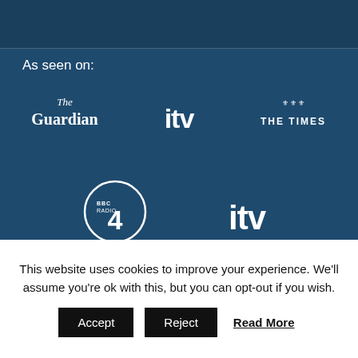As seen on:
[Figure (logo): The Guardian, ITV, The Times logos in a row]
[Figure (logo): BBC Radio 4 and ITV logos in a row]
[Figure (infographic): Social media icons: RSS, Facebook, Twitter, LinkedIn, YouTube, Instagram]
This website uses cookies to improve your experience. We'll assume you're ok with this, but you can opt-out if you wish.
Accept | Reject | Read More